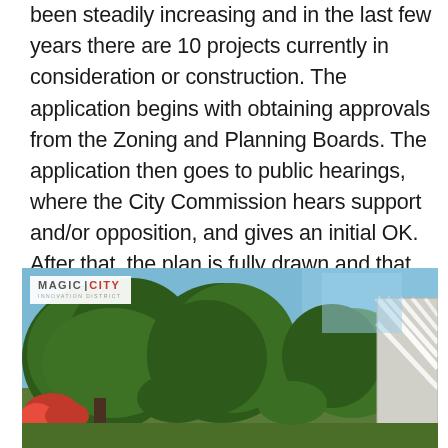been steadily increasing and in the last few years there are 10 projects currently in consideration or construction. The application begins with obtaining approvals from the Zoning and Planning Boards. The application then goes to public hearings, where the City Commission hears support and/or opposition, and gives an initial OK. After that, the plan is fully drawn and that set is presented again to ensure that it meets the proposed plan before heading to obtain a building permit.
[Figure (photo): Outdoor scene with lush green trees in the foreground and a modern building with diagonal white structural elements visible in the background on the right side. A Magic City Innovation District logo/watermark appears in the upper left corner of the image.]